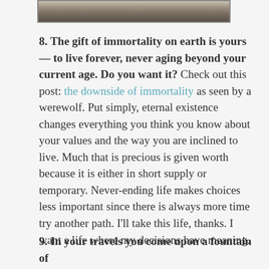[Figure (photo): Partial view of a photograph at the top of the page, showing a dark landscape or scenic image with a border frame.]
8. The gift of immortality on earth is yours — to live forever, never aging beyond your current age. Do you want it? Check out this post: the downside of immortality as seen by a werewolf. Put simply, eternal existence changes everything you think you know about your values and the way you are inclined to live. Much that is precious is given worth because it is either in short supply or temporary. Never-ending life makes choices less important since there is always more time try another path. I'll take this life, thanks. I want a life where my decisions have meaning.
9. In your travels you come upon a fountain of